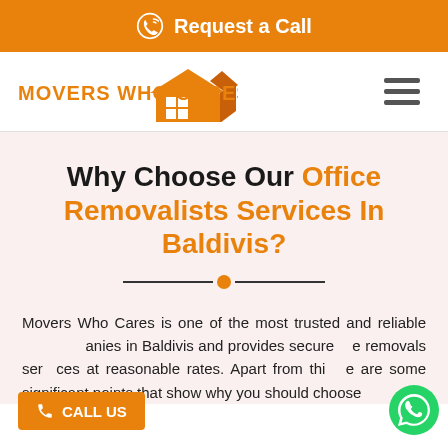Request a Call
[Figure (logo): Movers Who Cares logo with house icon and orange text]
Why Choose Our Office Removalists Services In Baldivis?
Movers Who Cares is one of the most trusted and reliable companies in Baldivis and provides secure removals services at reasonable rates. Apart from this are some significant points that show why you should choose